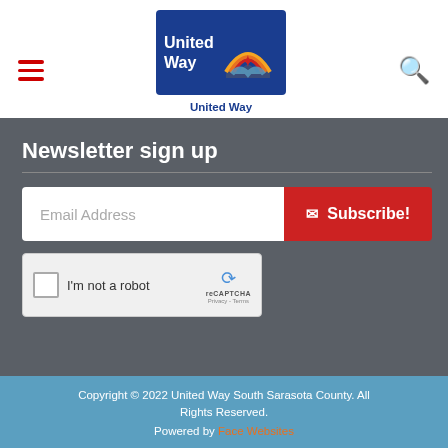[Figure (logo): United Way logo - blue rectangle with 'United Way' text and rainbow/hand graphic, plus 'United Way of South Sarasota County' text below]
Newsletter sign up
Email Address
Subscribe!
[Figure (screenshot): reCAPTCHA widget with checkbox labeled 'I'm not a robot']
Copyright © 2022 United Way South Sarasota County. All Rights Reserved.
Powered by Face Websites